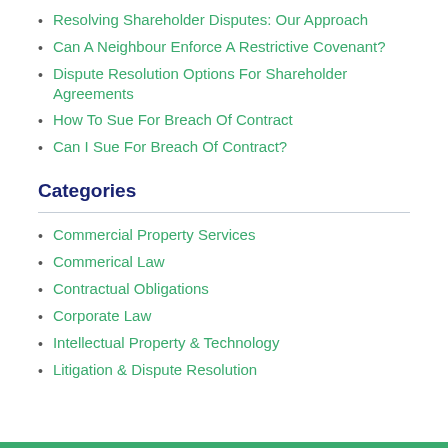Resolving Shareholder Disputes: Our Approach
Can A Neighbour Enforce A Restrictive Covenant?
Dispute Resolution Options For Shareholder Agreements
How To Sue For Breach Of Contract
Can I Sue For Breach Of Contract?
Categories
Commercial Property Services
Commerical Law
Contractual Obligations
Corporate Law
Intellectual Property & Technology
Litigation & Dispute Resolution